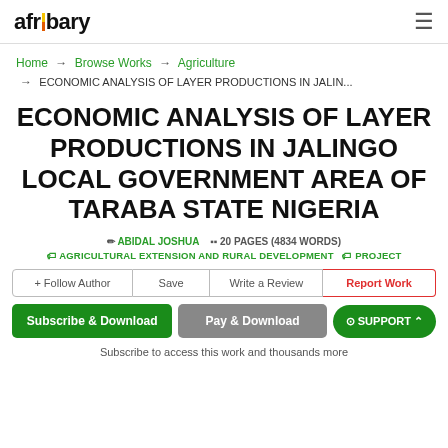afribary
Home → Browse Works → Agriculture → ECONOMIC ANALYSIS OF LAYER PRODUCTIONS IN JALIN...
ECONOMIC ANALYSIS OF LAYER PRODUCTIONS IN JALINGO LOCAL GOVERNMENT AREA OF TARABA STATE NIGERIA
ABIDAL JOSHUA | 20 PAGES (4834 WORDS)
AGRICULTURAL EXTENSION AND RURAL DEVELOPMENT | PROJECT
+ Follow Author | Save | Write a Review | Report Work
Subscribe & Download | Pay & Download | SUPPORT
Subscribe to access this work and thousands more